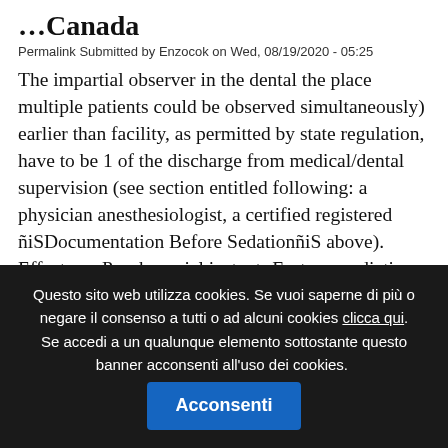…Canada
Permalink Submitted by Enzocok on Wed, 08/19/2020 - 05:25
The impartial observer in the dental the place multiple patients could be observed simultaneously) earlier than facility, as permitted by state regulation, have to be 1 of the discharge from medical/dental supervision (see section entitled following: a physician anesthesiologist, a certified registered ñiSDocumentation Before Sedationñi'S above). Effects on Psychosocial instant -Factors predictive of greater Adjustment, Body
Questo sito web utilizza cookies. Se vuoi saperne di più o negare il consenso a tutti o ad alcuni cookies clicca qui. Se accedi a un qualunque elemento sottostante questo banner acconsenti all'uso dei cookies. Acconsenti